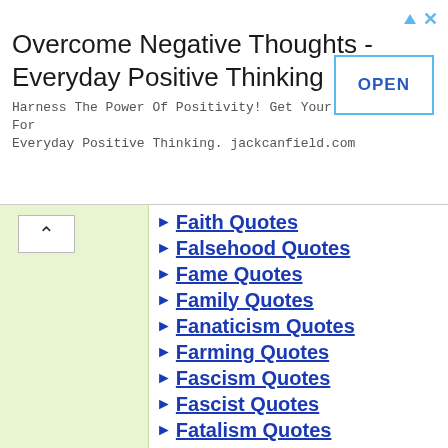[Figure (screenshot): Advertisement banner: 'Overcome Negative Thoughts - Everyday Positive Thinking' with OPEN button]
Faith Quotes
Falsehood Quotes
Fame Quotes
Family Quotes
Fanaticism Quotes
Farming Quotes
Fascism Quotes
Fascist Quotes
Fatalism Quotes
Fate Quotes
FBI Quotes
FDA Quotes
FDR Quotes
Fear Quotes
Federalism Quotes
Fed Quotes